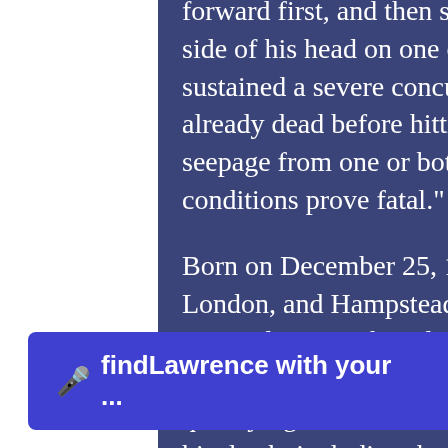forward first, and then sliding down onto the floor, gashing the left side of his head on one of the wheels of his desk chair. Though he sustained a severe concussion from the fall, he was probably already dead before hitting his head. A small amount of blood seepage from one or both ears is not uncommon when such conditions prove fatal."
Born on December 25, 1950, Barry Wilkes lived in both Mayfair, London, and Hampstead, forming the Wilkes Urban Planning. Barry also contributed to the Greater London community by forming the School of Planning, offering scholarships to qualifying individuals around the country. He was wor... the time of his death, including the first...